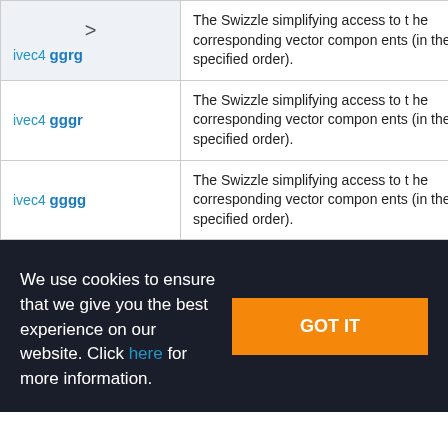| Type | Description |
| --- | --- |
| ivec4 ggrg | The Swizzle simplifying access to the corresponding vector components (in the specified order). |
| ivec4 gggr | The Swizzle simplifying access to the corresponding vector components (in the specified order). |
| ivec4 gggg | The Swizzle simplifying access to the corresponding vector components (in the specified order). |
We use cookies to ensure that we give you the best experience on our website. Click here for more information.